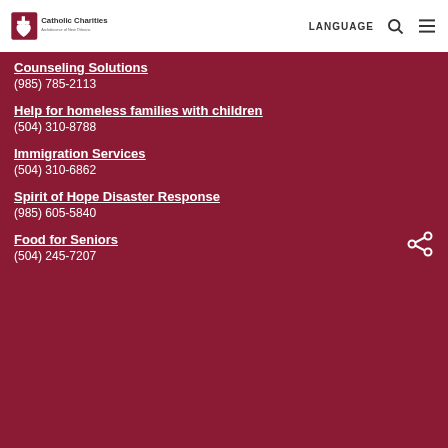Catholic Charities Archdiocese of New Orleans | LANGUAGE
Counseling Solutions
(985) 785-2113
Help for homeless families with children
(504) 310-8788
Immigration Services
(504) 310-6862
Spirit of Hope Disaster Response
(985) 605-5840
Food for Seniors
(504) 245-7207